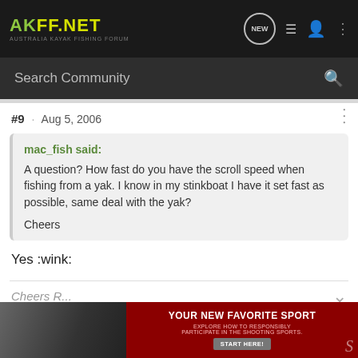AKFF.NET AUSTRALIA KAYAK FISHING FORUM
Search Community
#9 · Aug 5, 2006
mac_fish said:
A question? How fast do you have the scroll speed when fishing from a yak. I know in my stinkboat I have it set fast as possible, same deal with the yak?

Cheers
Yes :wink:
Cheers R...
[Figure (screenshot): Advertisement banner: photo of people and red background with text YOUR NEW FAVORITE SPORT, EXPLORE HOW TO RESPONSIBLY PARTICIPATE IN THE SHOOTING SPORTS. START HERE!]